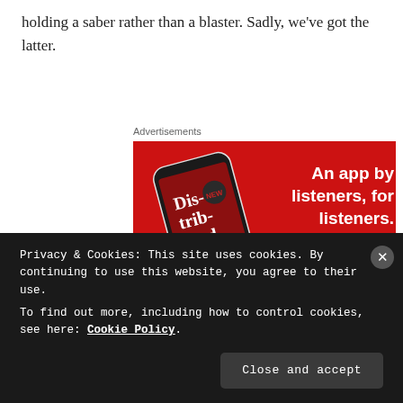holding a saber rather than a blaster. Sadly, we've got the latter.
Advertisements
[Figure (screenshot): Advertisement for a podcast app showing a smartphone with 'Dis-trib-uted' podcast on screen and text 'An app by listeners, for listeners.' with a 'Download now' button on red background.]
Privacy & Cookies: This site uses cookies. By continuing to use this website, you agree to their use.
To find out more, including how to control cookies, see here: Cookie Policy.
Close and accept